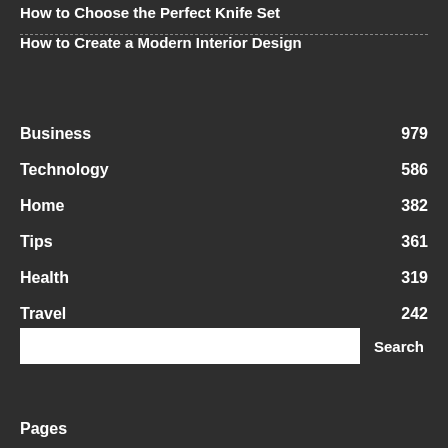How to Choose the Perfect Knife Set
How to Create a Modern Interior Design
Business 979
Technology 586
Home 382
Tips 361
Health 319
Travel 242
Search
Pages